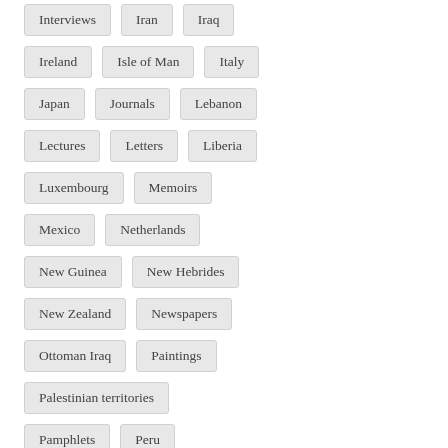Interviews
Iran
Iraq
Ireland
Isle of Man
Italy
Japan
Journals
Lebanon
Lectures
Letters
Liberia
Luxembourg
Memoirs
Mexico
Netherlands
New Guinea
New Hebrides
New Zealand
Newspapers
Ottoman Iraq
Paintings
Palestinian territories
Pamphlets
Peru
Philippines
Photographs